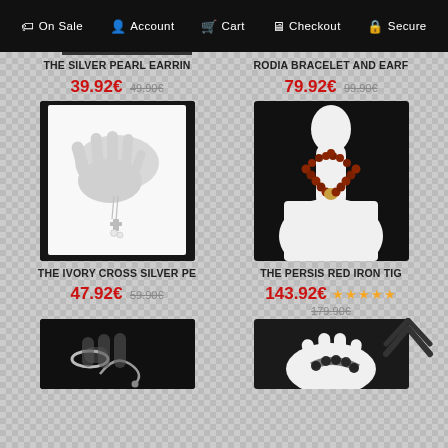On Sale  Account  Cart  Checkout  Secure
THE SILVER PEARL EARRIN
39.92€ 49.90€
RODIA BRACELET AND EARF
79.92€ 99.90€
[Figure (photo): White mannequin hand on dark background with silver cross pearl earrings hanging]
[Figure (photo): White mannequin bust on dark background displaying a red-brown beaded necklace with gold centerpiece]
THE IVORY CROSS SILVER PE
47.92€ 59.90€
THE PERSIS RED IRON TIG
143.92€ ★★★★★ 179.90€
[Figure (photo): Dark background with silver ring jewelry on fingers]
[Figure (photo): White mannequin hand displaying dark beaded bracelet]